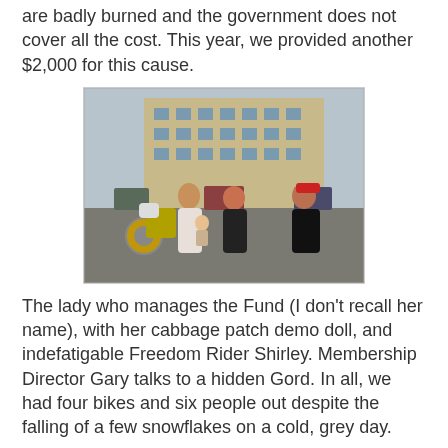are badly burned and the government does not cover all the cost. This year, we provided another $2,000 for this cause.
[Figure (photo): Three people standing outdoors near a motorcycle in a parking lot. The woman on the left holds a cabbage patch doll. A building is visible in the background. The person on the right wears a red cap and black motorcycle jacket.]
The lady who manages the Fund (I don't recall her name), with her cabbage patch demo doll, and indefatigable Freedom Rider Shirley. Membership Director Gary talks to a hidden Gord. In all, we had four bikes and six people out despite the falling of a few snowflakes on a cold, grey day.
My big challenge, as head and only club bookkeeper, was to come up with a large presentation cheque since we didn't